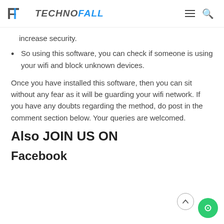TechnoFall
increase security.
So using this software, you can check if someone is using your wifi and block unknown devices.
Once you have installed this software, then you can sit without any fear as it will be guarding your wifi network. If you have any doubts regarding the method, do post in the comment section below. Your queries are welcomed.
Also JOIN US ON
Facebook